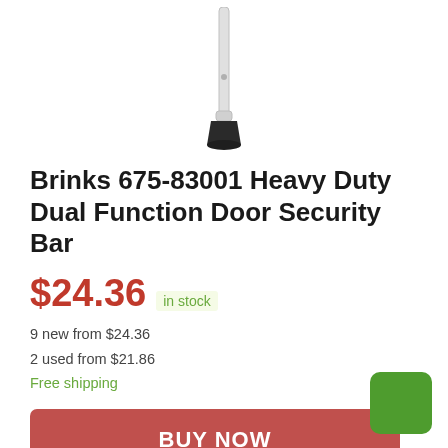[Figure (photo): Product photo of Brinks door security bar — a white/silver metal bar with a black rubber foot base, shown vertically cropped at the top]
Brinks 675-83001 Heavy Duty Dual Function Door Security Bar
$24.36  in stock
9 new from $24.36
2 used from $21.86
Free shipping
BUY NOW